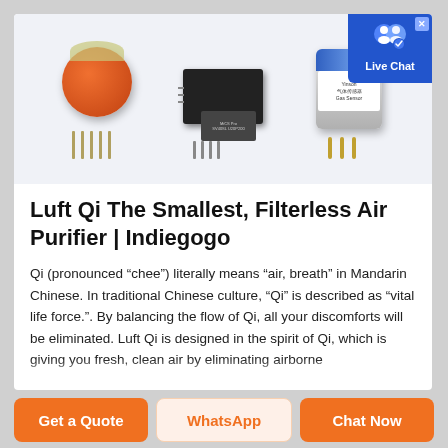[Figure (photo): Three electronic gas sensors on a light blue-gray background: an orange cylindrical sensor with metal pins, a black rectangular chip sensor, and a cylindrical sensor with blue top ring and white label.]
Luft Qi The Smallest, Filterless Air Purifier | Indiegogo
Qi (pronounced “chee”) literally means “air, breath” in Mandarin Chinese. In traditional Chinese culture, “Qi” is described as “vital life force.”. By balancing the flow of Qi, all your discomforts will be eliminated. Luft Qi is designed in the spirit of Qi, which is giving you fresh, clean air by eliminating airborne
Get a Quote
WhatsApp
Chat Now